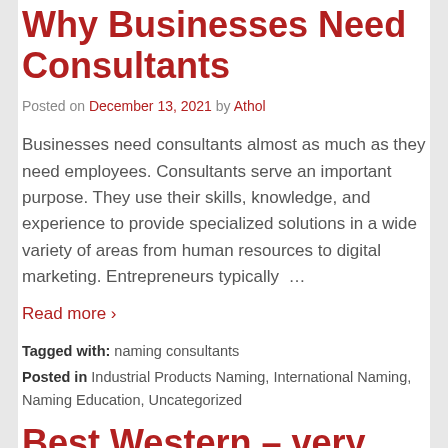Why Businesses Need Consultants
Posted on December 13, 2021 by Athol
Businesses need consultants almost as much as they need employees. Consultants serve an important purpose. They use their skills, knowledge, and experience to provide specialized solutions in a wide variety of areas from human resources to digital marketing. Entrepreneurs typically …
Read more ›
Tagged with: naming consultants
Posted in Industrial Products Naming, International Naming, Naming Education, Uncategorized
Best Western – very disappointing brand